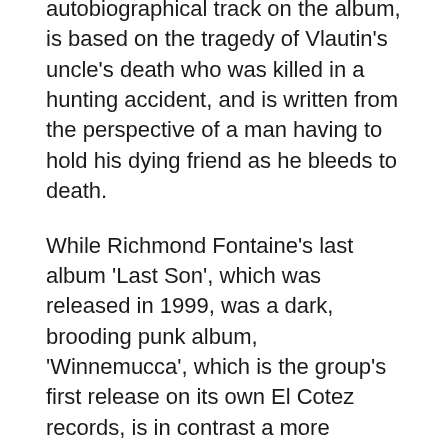autobiographical track on the album, is based on the tragedy of Vlautin's uncle's death who was killed in a hunting accident, and is written from the perspective of a man having to hold his dying friend as he bleeds to death.
While Richmond Fontaine's last album 'Last Son', which was released in 1999, was a dark, brooding punk album, 'Winnemucca', which is the group's first release on its own El Cotez records, is in contrast a more subdued affair with a strong emphasis on acoustics and cinematic atmospherics. There is a lack of electric guitars, and the pedal steel of guitarist Paul Brainard, who became an offical member of the band at the time of “Lost Son', is used as a main instrument. The album is also the first Richmond Fontaine studio album to feature Gaston’s replacement Sean Oldham, who has drummed with the band for the last two years. It was recorded at the Type Foundry studio in Portland, with John Askew, who fronts